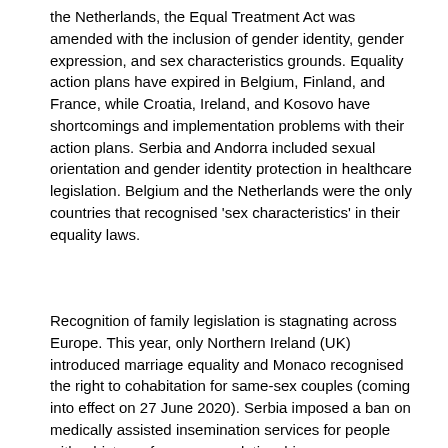the Netherlands, the Equal Treatment Act was amended with the inclusion of gender identity, gender expression, and sex characteristics grounds. Equality action plans have expired in Belgium, Finland, and France, while Croatia, Ireland, and Kosovo have shortcomings and implementation problems with their action plans. Serbia and Andorra included sexual orientation and gender identity protection in healthcare legislation. Belgium and the Netherlands were the only countries that recognised 'sex characteristics' in their equality laws.
Recognition of family legislation is stagnating across Europe. This year, only Northern Ireland (UK) introduced marriage equality and Monaco recognised the right to cohabitation for same-sex couples (coming into effect on 27 June 2020). Serbia imposed a ban on medically assisted insemination services for people with a history of same-sex relationships.